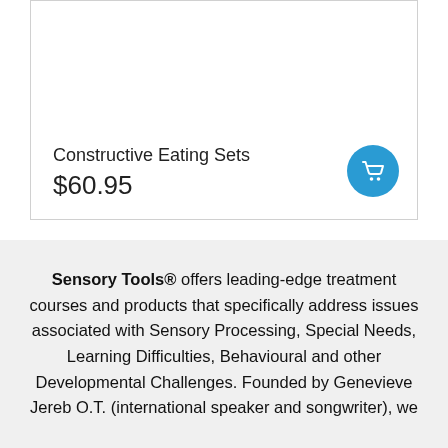Constructive Eating Sets
$60.95
Sensory Tools® offers leading-edge treatment courses and products that specifically address issues associated with Sensory Processing, Special Needs, Learning Difficulties, Behavioural and other Developmental Challenges. Founded by Genevieve Jereb O.T. (international speaker and songwriter), we